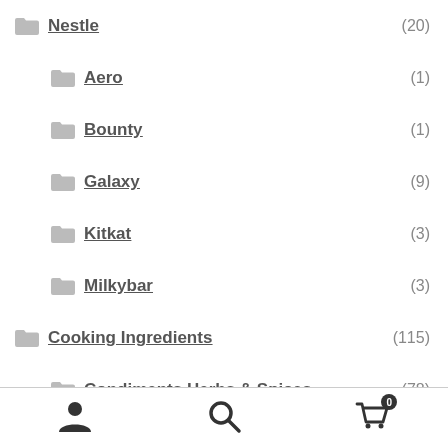Nestle (20)
Aero (1)
Bounty (1)
Galaxy (9)
Kitkat (3)
Milkybar (3)
Cooking Ingredients (115)
Condiments Herbs & Spices (78)
Condiments Sauces (27)
Herbs & Spices (43)
Marinations (14)
[Figure (infographic): Bottom navigation bar with user/account icon, search icon, and shopping cart icon with badge showing 0]